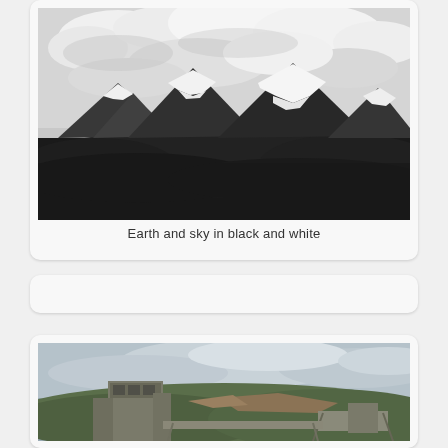[Figure (photo): Black and white landscape photograph of snow-capped mountain peaks with dramatic cloudy sky above and dark forested hills in the foreground]
Earth and sky in black and white
[Figure (photo): Color photograph of industrial buildings or mining facility structures in the foreground with rolling green hills and cloudy sky in the background]